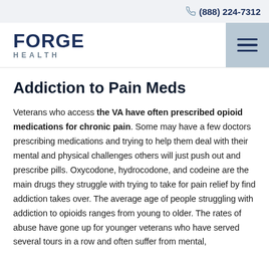(888) 224-7312
[Figure (logo): Forge Health logo with hamburger menu icon]
Addiction to Pain Meds
Veterans who access the VA have often prescribed opioid medications for chronic pain. Some may have a few doctors prescribing medications and trying to help them deal with their mental and physical challenges others will just push out and prescribe pills. Oxycodone, hydrocodone, and codeine are the main drugs they struggle with trying to take for pain relief by find addiction takes over. The average age of people struggling with addiction to opioids ranges from young to older. The rates of abuse have gone up for younger veterans who have served several tours in a row and often suffer from mental,